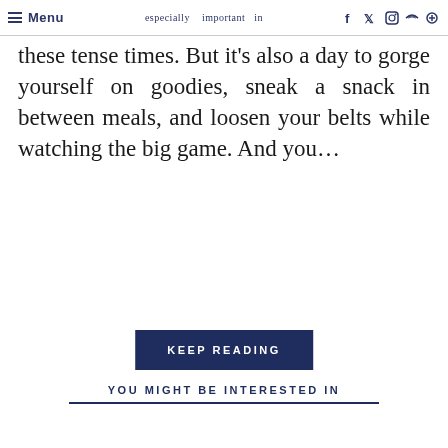that Menu especially important in these tense times [social icons: Facebook, Twitter, Instagram, RSS, Search]
these tense times. But it's also a day to gorge yourself on goodies, sneak a snack in between meals, and loosen your belts while watching the big game. And you...
KEEP READING
YOU MIGHT BE INTERESTED IN